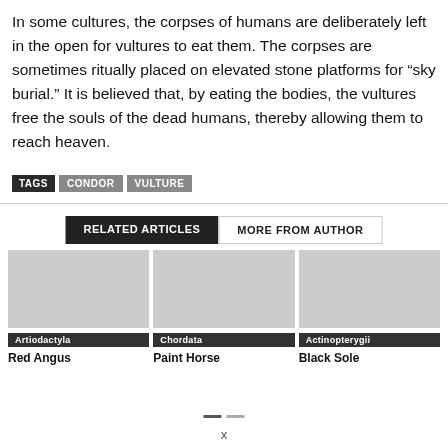In some cultures, the corpses of humans are deliberately left in the open for vultures to eat them. The corpses are sometimes ritually placed on elevated stone platforms for “sky burial.” It is believed that, by eating the bodies, the vultures free the souls of the dead humans, thereby allowing them to reach heaven.
TAGS  CONDOR  VULTURE
RELATED ARTICLES  MORE FROM AUTHOR
Artiodactyla
Red Angus
Chordata
Paint Horse
Actinopterygii
Black Sole